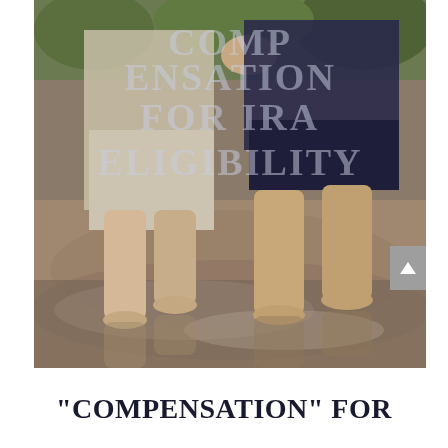[Figure (photo): Two elderly people (couple) walking barefoot on a wet beach holding hands, legs and feet visible, reflections in wet sand, green foliage in upper background. Watermark text overlay reads: COMPENSATION FOR IRA ELIGIBILITY]
"COMPENSATION" FOR